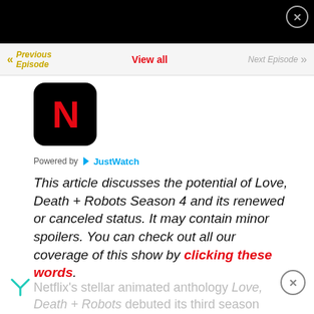[Figure (logo): Navigation bar with Previous Episode, View all, Next Episode links]
[Figure (logo): Netflix app icon - black rounded square with red N logo]
Powered by JustWatch
This article discusses the potential of Love, Death + Robots Season 4 and its renewed or canceled status. It may contain minor spoilers. You can check out all our coverage of this show by clicking these words.
Netflix's stellar animated anthology Love, Death + Robots debuted its third season today, May 20, 2022, with nine stellar short episodes about a wide range of themes.